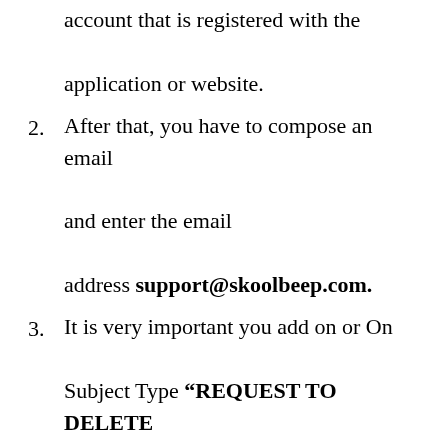account that is registered with the application or website.
After that, you have to compose an email and enter the email address support@skoolbeep.com.
It is very important you add on or On Subject Type “REQUEST TO DELETE MY ACCOUNT”.
Now write an email requesting them to delete your account from their database, and to wipe all your information with them,